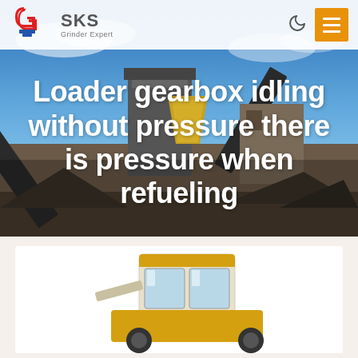[Figure (logo): SKS Grinder Expert logo with red and blue stylized G icon and grey SKS text]
[Figure (photo): Industrial quarry/mining facility with conveyor belts, large machinery, blue sky with clouds]
Loader gearbox idling without pressure there is pressure when refueling
[Figure (photo): Yellow/white construction loader machine, partially visible from upper portion, on white/light grey background]